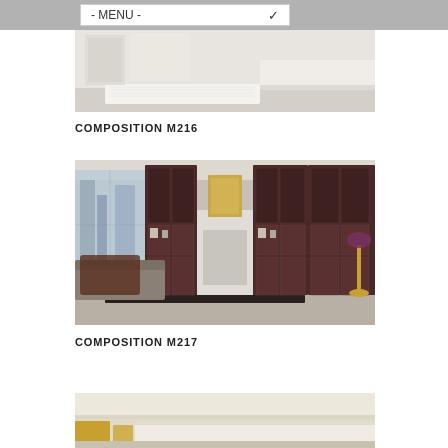- MENU -
[Figure (photo): Interior bathroom/bedroom scene with white walls, white fluffy rug, and a bathtub or platform bed area]
COMPOSITION M216
[Figure (photo): Elegant living room with dark wood built-in bookshelves and cabinets flanking a white fireplace, a sofa with fur throw, gold floor lamp, city window view]
COMPOSITION M217
[Figure (photo): Partial view of another room composition, bottom of page]